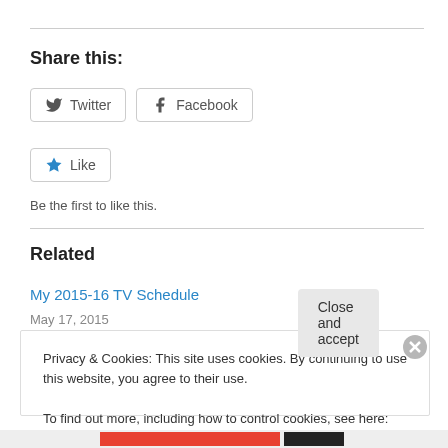Share this:
[Figure (other): Twitter share button with Twitter bird icon]
[Figure (other): Facebook share button with Facebook logo icon]
[Figure (other): Like button with star icon]
Be the first to like this.
Related
My 2015-16 TV Schedule
May 17, 2015
Privacy & Cookies: This site uses cookies. By continuing to use this website, you agree to their use.
To find out more, including how to control cookies, see here: Cookie Policy
Close and accept